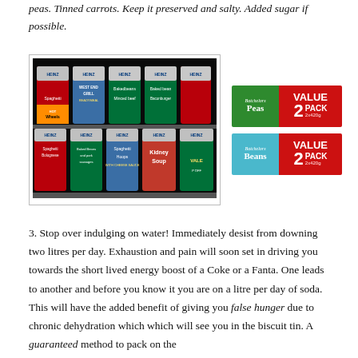peas. Tinned carrots. Keep it preserved and salty. Added sugar if possible.
[Figure (photo): Two photos side by side: left shows shelves of Heinz tinned cans including Spaghetti, West End Grill Readymeal, Baked Beans, Minced Beef, Spaghetti Bolognese, Baked Beans and Pork Sausages, Spaghetti Hoops, Kidney Soup, and others; right shows Batchelors Value 2 Pack Peas and Batchelors Value 2 Pack Beans product packaging.]
3. Stop over indulging on water! Immediately desist from downing two litres per day. Exhaustion and pain will soon set in driving you towards the short lived energy boost of a Coke or a Fanta. One leads to another and before you know it you are on a litre per day of soda. This will have the added benefit of giving you false hunger due to chronic dehydration which which will see you in the biscuit tin. A guaranteed method to pack on the